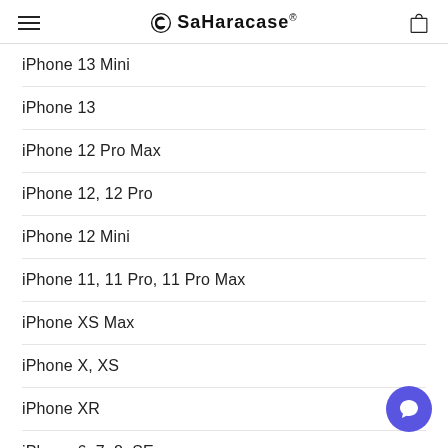SaharaCase
iPhone 13 Mini
iPhone 13
iPhone 12 Pro Max
iPhone 12, 12 Pro
iPhone 12 Mini
iPhone 11, 11 Pro, 11 Pro Max
iPhone XS Max
iPhone X, XS
iPhone XR
iPhone 6, 7, 8, SE